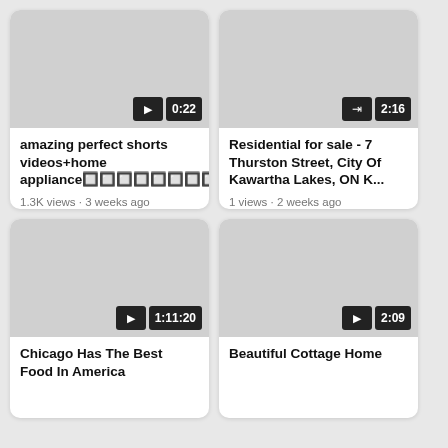[Figure (screenshot): Video thumbnail placeholder (gray) with play button and duration badge 0:22 for 'amazing perfect shorts videos+home appliance' video]
amazing perfect shorts videos+home appliance🔲🔲🔲🔲🔲🔲🔲🔲
1.3K views · 3 weeks ago
YouTube › HOOSH 2 DEALS
[Figure (screenshot): Video thumbnail placeholder (gray) with exit/redirect icon and duration badge 2:16 for 'Residential for sale - 7 Thurston Street' video]
Residential for sale - 7 Thurston Street, City Of Kawartha Lakes, ON K...
1 views · 2 weeks ago
YouTube › Affinity Group Pin...
[Figure (screenshot): Video thumbnail placeholder (gray) with play button and duration badge 1:11:20 for 'Chicago Has The Best Food In America' video]
Chicago Has The Best Food In America
[Figure (screenshot): Video thumbnail placeholder (gray) with play button and duration badge 2:09 for 'Beautiful Cottage Home' video]
Beautiful Cottage Home